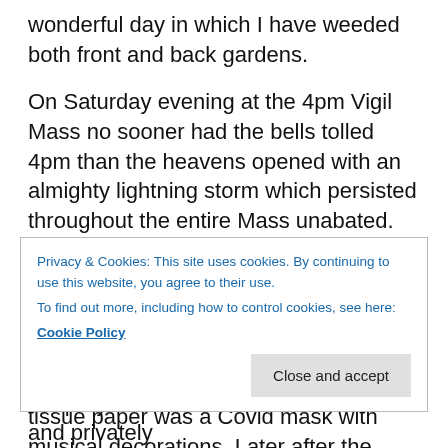wonderful day in which I have weeded both front and back gardens.
On Saturday evening at the 4pm Vigil Mass no sooner had the bells tolled 4pm than the heavens opened with an almighty lightning storm which persisted throughout the entire Mass unabated. The ferocity was astounding but the timing was normal.
Yesterday at church after the first morning Mass I discovered a small package left on the piano. Wrapped in tissue paper was a Covid mask with musical decorations. Later after the midday Mass one
Privacy & Cookies: This site uses cookies. By continuing to use this website, you agree to their use.
To find out more, including how to control cookies, see here:
Cookie Policy
the prayers that his mother had died and privately